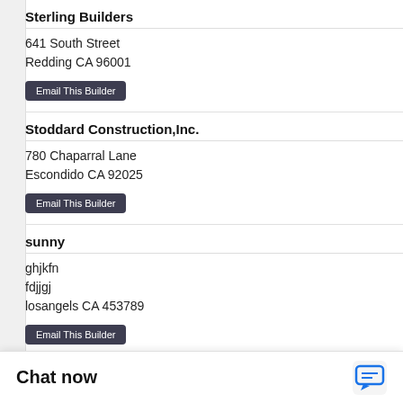Sterling Builders
641 South Street
Redding CA 96001
Email This Builder
Stoddard Construction,Inc.
780 Chaparral Lane
Escondido CA 92025
Email This Builder
sunny
ghjkfn
fdjjgj
losangels CA 453789
Email This Builder
THE COTTAGES of OLIVEHURST
1848 Tierra Nueva Lane
Chat now